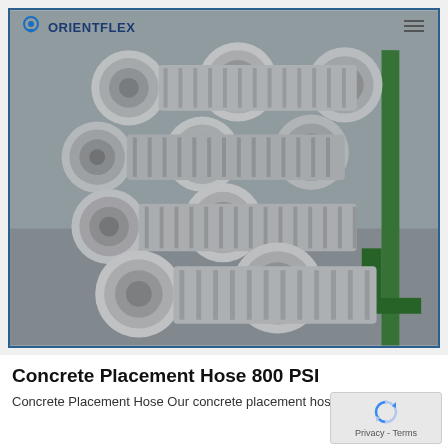[Figure (photo): Stack of concrete placement hoses with metal end fittings/couplings, stored on a green metal rack in an industrial/warehouse setting. Hoses are gray/silver with ribbed construction.]
Concrete Placement Hose 800 PSI
Concrete Placement Hose Our concrete placement hose off...